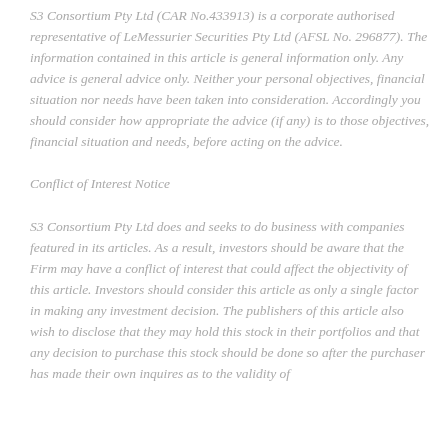S3 Consortium Pty Ltd (CAR No.433913) is a corporate authorised representative of LeMessurier Securities Pty Ltd (AFSL No. 296877). The information contained in this article is general information only. Any advice is general advice only. Neither your personal objectives, financial situation nor needs have been taken into consideration. Accordingly you should consider how appropriate the advice (if any) is to those objectives, financial situation and needs, before acting on the advice.
Conflict of Interest Notice
S3 Consortium Pty Ltd does and seeks to do business with companies featured in its articles. As a result, investors should be aware that the Firm may have a conflict of interest that could affect the objectivity of this article. Investors should consider this article as only a single factor in making any investment decision. The publishers of this article also wish to disclose that they may hold this stock in their portfolios and that any decision to purchase this stock should be done so after the purchaser has made their own inquires as to the validity of